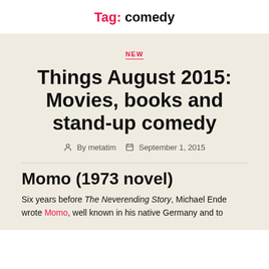Tag: comedy
NEW
Things August 2015: Movies, books and stand-up comedy
By metatim   September 1, 2015
Momo (1973 novel)
Six years before The Neverending Story, Michael Ende wrote Momo, well known in his native Germany and to...